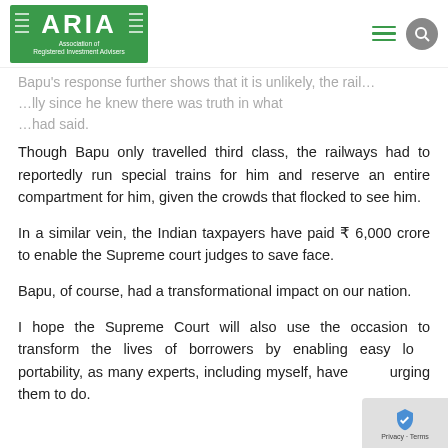ARIA — Association of Registered Investment Advisers
Bapu's response further shows that it is unlikely, the railways…lly since he knew there was truth in what…had said.
Though Bapu only travelled third class, the railways had to reportedly run special trains for him and reserve an entire compartment for him, given the crowds that flocked to see him.
In a similar vein, the Indian taxpayers have paid ₹ 6,000 crore to enable the Supreme court judges to save face.
Bapu, of course, had a transformational impact on our nation.
I hope the Supreme Court will also use the occasion to transform the lives of borrowers by enabling easy loan portability, as many experts, including myself, have been urging them to do.